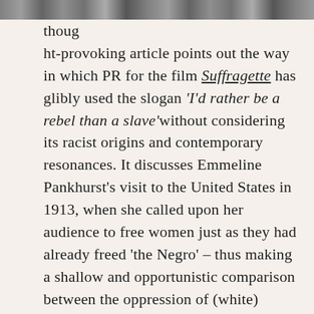[Figure (photo): Partial image strip visible at top of page, cropped photograph]
thoug ht-provoking article points out the way in which PR for the film Suffragette has glibly used the slogan 'I'd rather be a rebel than a slave' without considering its racist origins and contemporary resonances. It discusses Emmeline Pankhurst's visit to the United States in 1913, when she called upon her audience to free women just as they had already freed 'the Negro' – thus making a shallow and opportunistic comparison between the oppression of (white) women and the enslavement of people of colour, while also ignoring the continued exploitation and oppression of Black people in the United States under the Jim Crow laws.
More could be said about the racism of